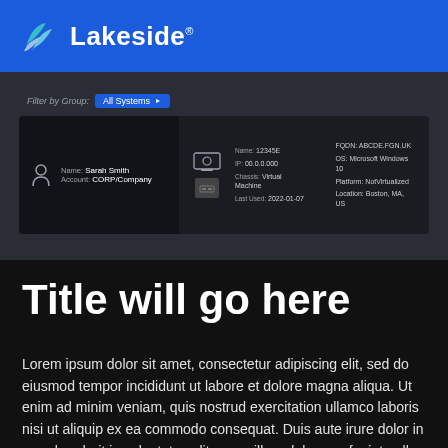Lakeside
[Figure (screenshot): Dark UI screenshot showing a device/user card with filter bar. Filter by Group: All Systems. User: Name: Sarah Smith, Account: CORP/Company. Device info: Name: 12345E, IP: 00.0.0.000, Chassis: Virtual Machine, Last Used: 2022-01-07. FQDN: ABCDE.FGN.UK, OS: Microsoft Windows 10, Platform: NotVirtualized, Location: Boston, MA, US]
Title will go here
Lorem ipsum dolor sit amet, consectetur adipiscing elit, sed do eiusmod tempor incididunt ut labore et dolore magna aliqua. Ut enim ad minim veniam, quis nostrud exercitation ullamco laboris nisi ut aliquip ex ea commodo consequat. Duis aute irure dolor in reprehenderit in voluptate velit esse cillum dolore eu fugiat nulla pariatur.